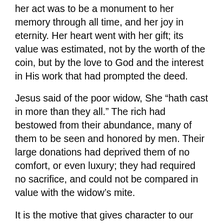her act was to be a monument to her memory through all time, and her joy in eternity. Her heart went with her gift; its value was estimated, not by the worth of the coin, but by the love to God and the interest in His work that had prompted the deed.
Jesus said of the poor widow, She “hath cast in more than they all.” The rich had bestowed from their abundance, many of them to be seen and honored by men. Their large donations had deprived them of no comfort, or even luxury; they had required no sacrifice, and could not be compared in value with the widow’s mite.
It is the motive that gives character to our acts, stamping them with ignominy or with high moral worth. Not the great things which every eye sees and every tongue praises does God account most precious. The little duties cheerfully done, the little gifts which make no show, and which to human eyes